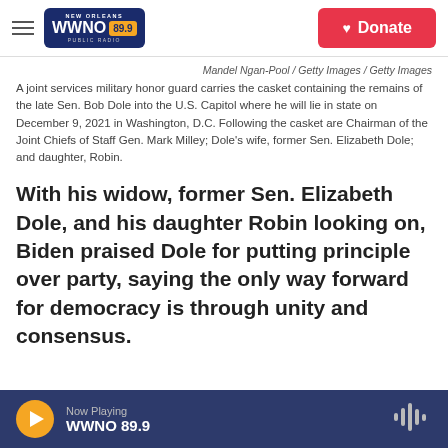WWNO 89.9 New Orleans Public Radio — Donate
Mandel Ngan-Pool / Getty Images / Getty Images
A joint services military honor guard carries the casket containing the remains of the late Sen. Bob Dole into the U.S. Capitol where he will lie in state on December 9, 2021 in Washington, D.C. Following the casket are Chairman of the Joint Chiefs of Staff Gen. Mark Milley; Dole's wife, former Sen. Elizabeth Dole; and daughter, Robin.
With his widow, former Sen. Elizabeth Dole, and his daughter Robin looking on, Biden praised Dole for putting principle over party, saying the only way forward for democracy is through unity and consensus.
Now Playing WWNO 89.9